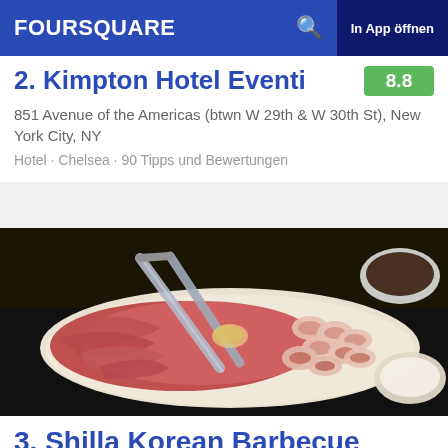FOURSQUARE  🔍  In App öffnen
2. Kimpton Hotel Eventi
851 Avenue of the Americas (btwn W 29th & W 30th St), New York City, NY
Hotel · Chelsea · 90 Tipps und Bewertungen
[Figure (photo): Photo of Korean BBQ raw meat rolls on a plate with metal tongs, and small bowls of sauce on the side, on a dark surface.]
3. Shilla Korean Barbecue
37 W 32nd St (btwn 5th & 6th), New York City, NY
Koreanisches Restaurant · Koreatown · 82 Tipps